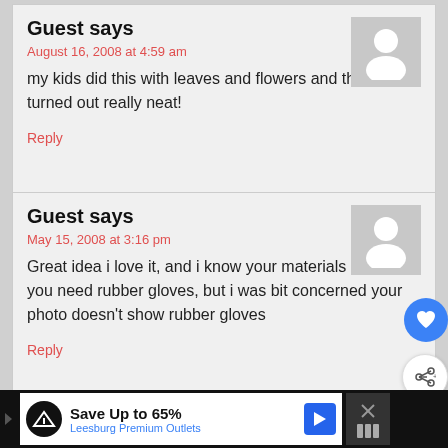Guest says
August 16, 2008 at 4:59 am
my kids did this with leaves and flowers and the shirts turned out really neat!
Reply
Guest says
May 15, 2008 at 3:16 pm
Great idea i love it, and i know your materials list says you need rubber gloves, but i was bit concerned your photo doesn't show rubber gloves
Reply
Guest says